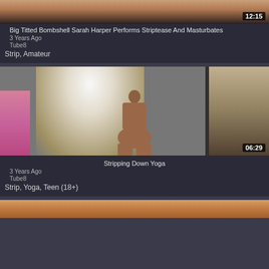[Figure (photo): Video thumbnail top partial view with duration 12:15]
Big Titted Bombshell Sarah Harper Performs Striptease And Masturbates
3 Years Ago
Tube8
Strip, Amateur
[Figure (photo): Video thumbnail showing person near window, duration 06:29]
Stripping Down Yoga
3 Years Ago
Tube8
Strip, Yoga, Teen (18+)
[Figure (photo): Partial video thumbnail at bottom of page]